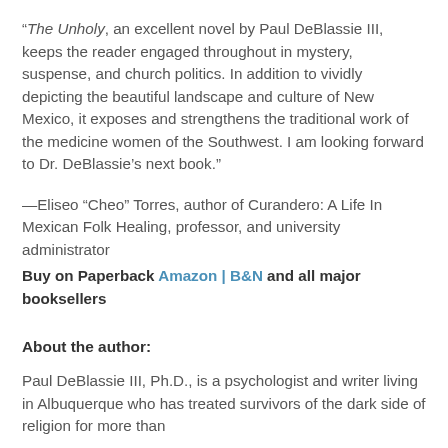“The Unholy, an excellent novel by Paul DeBlassie III, keeps the reader engaged throughout in mystery, suspense, and church politics. In addition to vividly depicting the beautiful landscape and culture of New Mexico, it exposes and strengthens the traditional work of the medicine women of the Southwest. I am looking forward to Dr. DeBlassie’s next book.”
—Eliseo “Cheo” Torres, author of Curandero: A Life In Mexican Folk Healing, professor, and university administrator
Buy on Paperback Amazon | B&N and all major booksellers
About the author:
Paul DeBlassie III, Ph.D., is a psychologist and writer living in Albuquerque who has treated survivors of the dark side of religion for more than